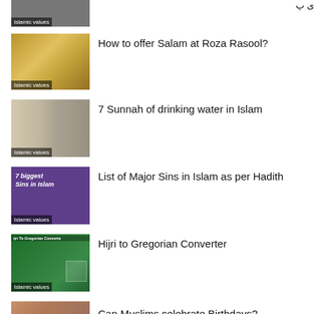[Figure (photo): Partially visible thumbnail with Islamic values label at top]
Islamic values
[Figure (photo): Mosque interior thumbnail labeled Islamic values]
How to offer Salam at Roza Rasool?
[Figure (photo): People drinking water thumbnail labeled Islamic values]
7 Sunnah of drinking water in Islam
[Figure (illustration): Purple background with text 7 biggest Sins in Islam, labeled Islamic values]
List of Major Sins in Islam as per Hadith
[Figure (screenshot): Green background Hijri to Gregorian Converter screenshot, labeled Islamic values]
Hijri to Gregorian Converter
[Figure (photo): Partially visible thumbnail at bottom]
Can Muslims celebrate Birthdays?